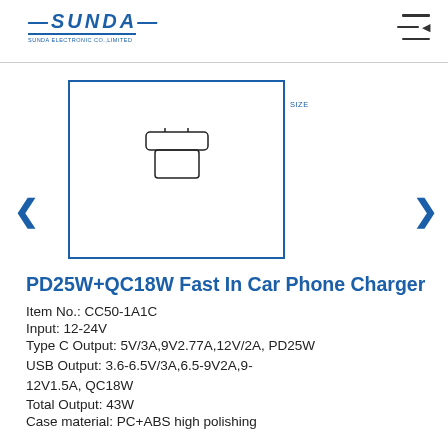SUNDA
[Figure (photo): Product image box showing a small car charger silhouette outline, with a label 'SIZE' to the right]
PD25W+QC18W Fast In Car Phone Charger
Item No.: CC50-1A1C
Input: 12-24V
Type C Output: 5V/3A,9V2.77A,12V/2A, PD25W
USB Output: 3.6-6.5V/3A,6.5-9V2A,9-12V1.5A, QC18W
Total Output: 43W
Case material: PC+ABS high polishing